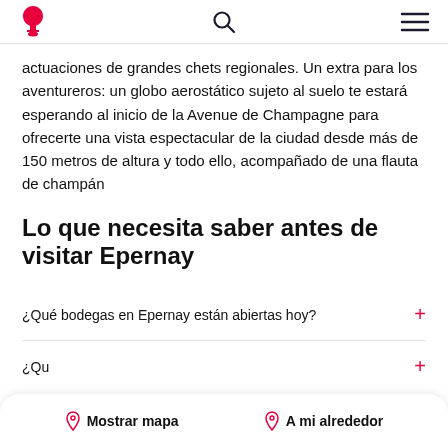Navigation bar with wine glass logo, search icon, and hamburger menu
actuaciones de grandes chets regionales. Un extra para los aventureros: un globo aerostático sujeto al suelo te estará esperando al inicio de la Avenue de Champagne para ofrecerte una vista espectacular de la ciudad desde más de 150 metros de altura y todo ello, acompañado de una flauta de champán
Lo que necesita saber antes de visitar Epernay
¿Qué bodegas en Epernay están abiertas hoy?
¿Qu
Mostrar mapa   A mi alrededor